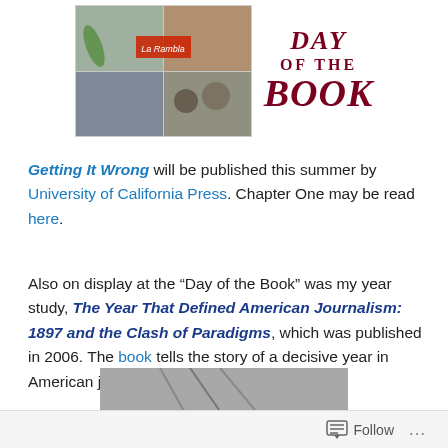[Figure (photo): Collage of event photos alongside 'Day of the Book' decorative text logo in dark red]
Getting It Wrong will be published this summer by University of California Press. Chapter One may be read here.
Also on display at the “Day of the Book” was my year study, The Year That Defined American Journalism: 1897 and the Clash of Paradigms, which was published in 2006. The book tells the story of a decisive year in American journalism.
[Figure (photo): Partial photo of a person or display at an event, cropped at bottom]